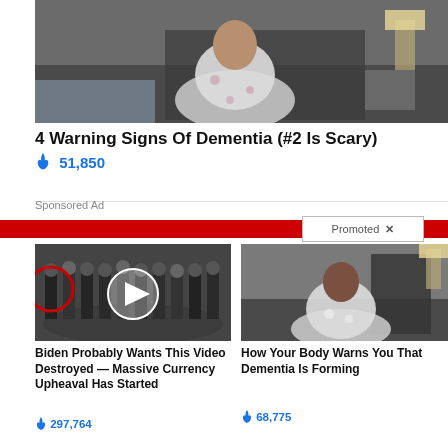[Figure (photo): Elderly person in floral pajamas sitting on a bed in a bedroom]
4 Warning Signs Of Dementia (#2 Is Scary)
🔥 51,850
Sponsored Ad
Promoted ✕
[Figure (photo): Group of men in suits standing in a formal setting, one circled in red, with a video play button overlay]
Biden Probably Wants This Video Destroyed — Massive Currency Upheaval Has Started
🔥 297,764
[Figure (photo): Person in white robe sitting on a bed, similar to top image]
How Your Body Warns You That Dementia Is Forming
🔥 68,775